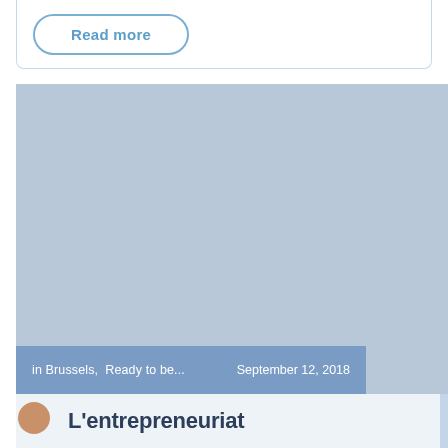Read more
[Figure (photo): Large placeholder image block in muted blue-gray color, representing an article thumbnail image]
in Brussels,  Ready to be...    September 12, 2018
L'entrepreneuriat